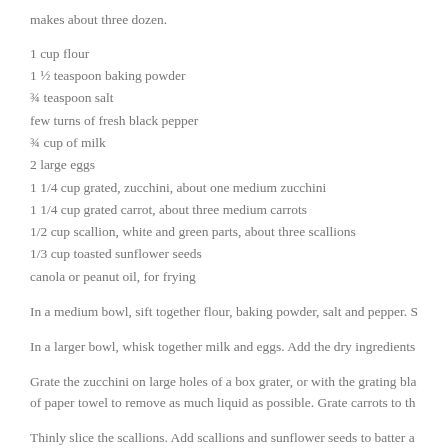makes about three dozen.
1 cup flour
1 ½ teaspoon baking powder
¾ teaspoon salt
few turns of fresh black pepper
¾ cup of milk
2 large eggs
1 1/4 cup grated, zucchini, about one medium zucchini
1 1/4 cup grated carrot, about three medium carrots
1/2 cup scallion, white and green parts, about three scallions
1/3 cup toasted sunflower seeds
canola or peanut oil, for frying
In a medium bowl, sift together flour, baking powder, salt and pepper. S
In a larger bowl, whisk together milk and eggs. Add the dry ingredients
Grate the zucchini on large holes of a box grater, or with the grating bla of paper towel to remove as much liquid as possible. Grate carrots to th
Thinly slice the scallions. Add scallions and sunflower seeds to batter a
Fill a pot with canola or peanut oil, until it is 2 inches deep. Heat the o sized dollops of the batter into the oil (they will puff up considerably). the temperature of the oil will decrease too much. Also if the fritters a the outside is sufficiently browned, and will still be raw in the middle.